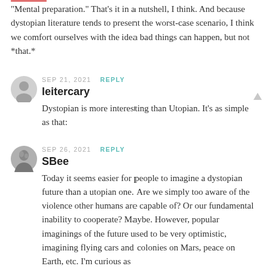“Mental preparation.” That’s it in a nutshell, I think. And because dystopian literature tends to present the worst-case scenario, I think we comfort ourselves with the idea bad things can happen, but not “that.”
SEP 21, 2021  REPLY
leitercary
Dystopian is more interesting than Utopian. It’s as simple as that:
SEP 26, 2021  REPLY
SBee
Today it seems easier for people to imagine a dystopian future than a utopian one. Are we simply too aware of the violence other humans are capable of? Or our fundamental inability to cooperate? Maybe. However, popular imaginings of the future used to be very optimistic, imagining flying cars and colonies on Mars, peace on Earth, etc. I’m curious as